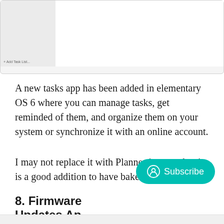[Figure (screenshot): A screenshot of a tasks application UI showing a two-panel layout with a sidebar on the left and main content area on the right. At the bottom of the left panel is '+ Add Task List...']
A new tasks app has been added in elementary OS 6 where you can manage tasks, get reminded of them, and organize them on your system or synchronize it with an online account.
I may not replace it with Planner just yet, but it is a good addition to have baked in.
8. Firmware Updates Ap
[Figure (screenshot): Subscribe button overlay — a teal rounded-rectangle button with a user/circle icon and the text 'Subscribe']